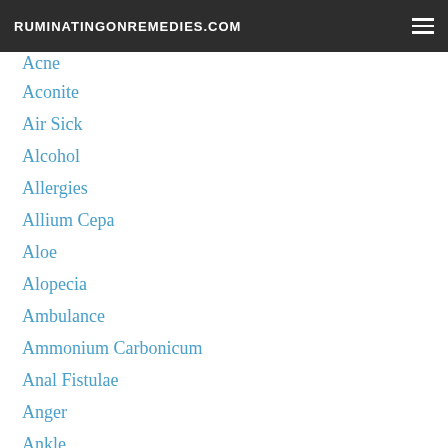RUMINATINGONREMEDIES.COM
Acne
Aconite
Air Sick
Alcohol
Allergies
Allium Cepa
Aloe
Alopecia
Ambulance
Ammonium Carbonicum
Anal Fistulae
Anger
Ankle
Annoyed
Anticipatory Anxiety
Anti-inflammatory
Anxiety